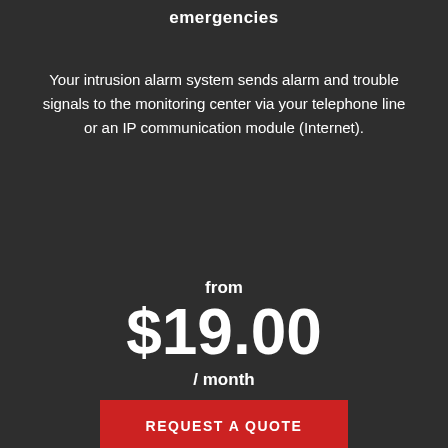emergencies
Your intrusion alarm system sends alarm and trouble signals to the monitoring center via your telephone line or an IP communication module (Internet).
from
$19.00
/ month
REQUEST A QUOTE